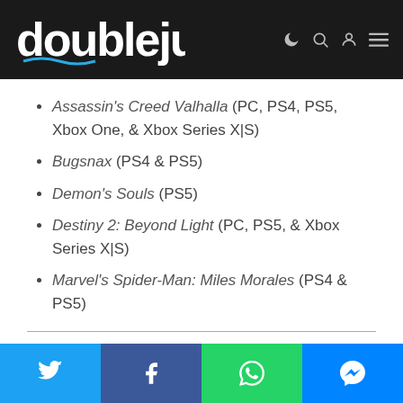doublejump
Assassin's Creed Valhalla (PC, PS4, PS5, Xbox One, & Xbox Series X|S)
Bugsnax (PS4 & PS5)
Demon's Souls (PS5)
Destiny 2: Beyond Light (PC, PS5, & Xbox Series X|S)
Marvel's Spider-Man: Miles Morales (PS4 & PS5)